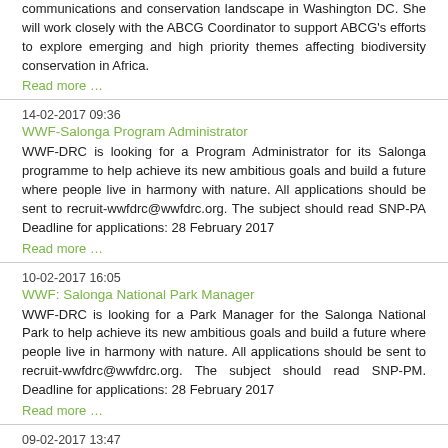communications and conservation landscape in Washington DC. She will work closely with the ABCG Coordinator to support ABCG's efforts to explore emerging and high priority themes affecting biodiversity conservation in Africa.
Read more …
14-02-2017 09:36
WWF-Salonga Program Administrator
WWF-DRC is looking for a Program Administrator for its Salonga programme to help achieve its new ambitious goals and build a future where people live in harmony with nature. All applications should be sent to recruit-wwfdrc@wwfdrc.org. The subject should read SNP-PA Deadline for applications: 28 February 2017
Read more …
10-02-2017 16:05
WWF: Salonga National Park Manager
WWF-DRC is looking for a Park Manager for the Salonga National Park to help achieve its new ambitious goals and build a future where people live in harmony with nature. All applications should be sent to recruit-wwfdrc@wwfdrc.org. The subject should read SNP-PM. Deadline for applications: 28 February 2017
Read more …
09-02-2017 13:47
Palladium: Call for applications from FLEGT and forest governance experts - Congo Basin
Our FLEGT team is currently seeking both national and international consultants and advisers with experience working in the Congo Basin, as well as skills in the forestry sector, governance of natural resources, diplomacy and facilitation of multi-stakeholder processes, for a variety of short and long term missions on projects in the Congo Basin and other regions of French-speaking